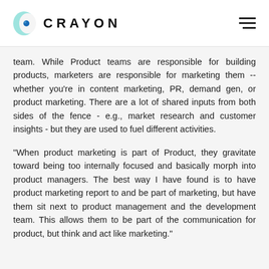CRAYON
team. While Product teams are responsible for building products, marketers are responsible for marketing them -- whether you’re in content marketing, PR, demand gen, or product marketing. There are a lot of shared inputs from both sides of the fence - e.g., market research and customer insights - but they are used to fuel different activities.
“When product marketing is part of Product, they gravitate toward being too internally focused and basically morph into product managers. The best way I have found is to have product marketing report to and be part of marketing, but have them sit next to product management and the development team. This allows them to be part of the communication for product, but think and act like marketing.”